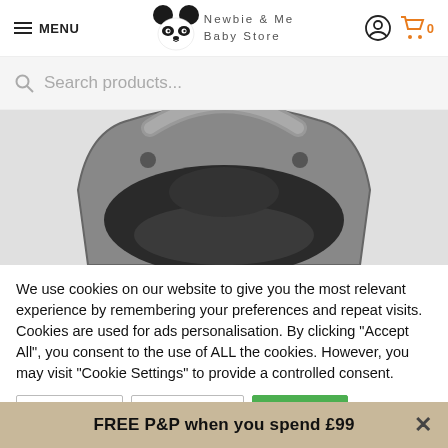MENU | Newbie & Me Baby Store | Account | Cart 0
Search products...
[Figure (photo): Baby car seat/carrier viewed from above, showing dark grey padded interior and grey handle, against white background.]
We use cookies on our website to give you the most relevant experience by remembering your preferences and repeat visits. Cookies are used for ads personalisation. By clicking "Accept All", you consent to the use of ALL the cookies. However, you may visit "Cookie Settings" to provide a controlled consent.
FREE P&P when you spend £99